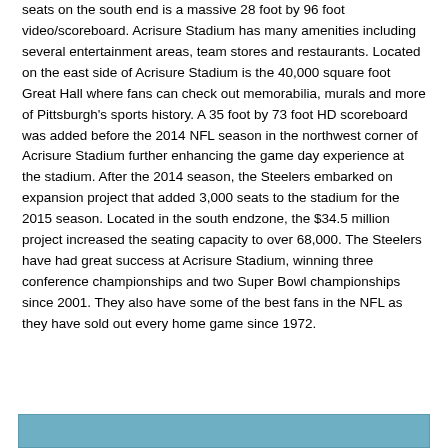seats on the south end is a massive 28 foot by 96 foot video/scoreboard. Acrisure Stadium has many amenities including several entertainment areas, team stores and restaurants. Located on the east side of Acrisure Stadium is the 40,000 square foot Great Hall where fans can check out memorabilia, murals and more of Pittsburgh's sports history. A 35 foot by 73 foot HD scoreboard was added before the 2014 NFL season in the northwest corner of Acrisure Stadium further enhancing the game day experience at the stadium. After the 2014 season, the Steelers embarked on expansion project that added 3,000 seats to the stadium for the 2015 season. Located in the south endzone, the $34.5 million project increased the seating capacity to over 68,000. The Steelers have had great success at Acrisure Stadium, winning three conference championships and two Super Bowl championships since 2001. They also have some of the best fans in the NFL as they have sold out every home game since 1972.
[Figure (photo): Bottom strip showing the top edge of an image, appearing to be a photo related to Acrisure Stadium, with a blue/teal color visible.]